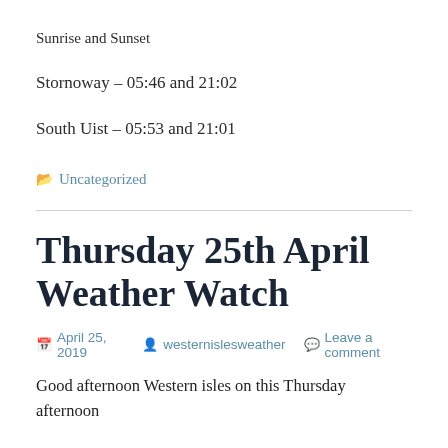Sunrise and Sunset
Stornoway – 05:46 and 21:02
South Uist – 05:53 and 21:01
Uncategorized
Thursday 25th April Weather Watch
April 25, 2019  westernislesweather  Leave a comment
Good afternoon Western isles on this Thursday afternoon